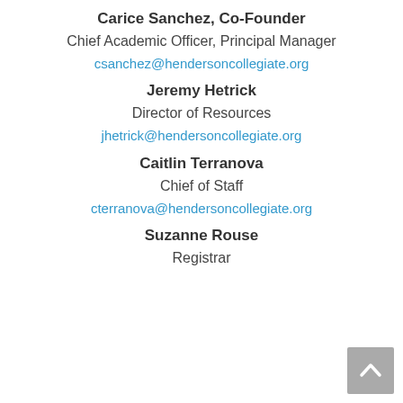Carice Sanchez, Co-Founder
Chief Academic Officer, Principal Manager
csanchez@hendersoncollegiate.org
Jeremy Hetrick
Director of Resources
jhetrick@hendersoncollegiate.org
Caitlin Terranova
Chief of Staff
cterranova@hendersoncollegiate.org
Suzanne Rouse
Registrar